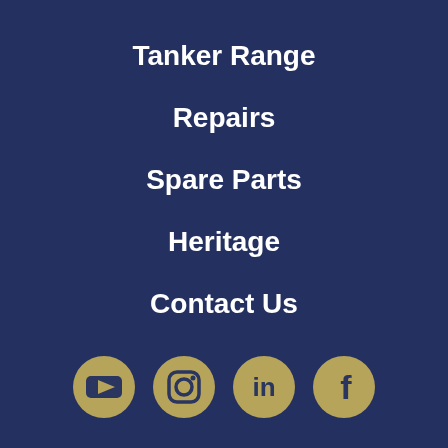Tanker Range
Repairs
Spare Parts
Heritage
Contact Us
[Figure (illustration): Four social media icon buttons in gold/tan circles on dark navy background: YouTube, Instagram, LinkedIn, Facebook]